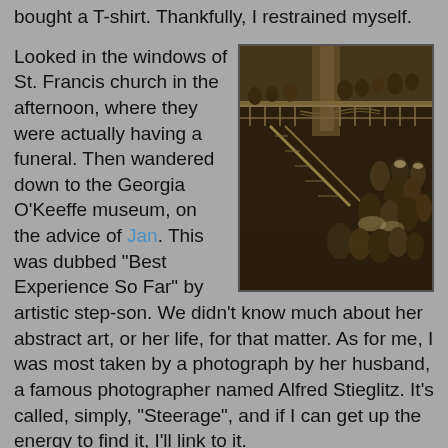bought a T-shirt. Thankfully, I restrained myself.
Looked in the windows of St. Francis church in the afternoon, where they were actually having a funeral. Then wandered down to the Georgia O'Keeffe museum, on the advice of Jan. This was dubbed "Best Experience So Far" by artistic step-son. We didn't know much about her abstract art, or her life, for that matter. As for me, I was most taken by a photograph by her husband, a famous photographer named Alfred Stieglitz. It's called, simply, "Steerage", and if I can get up the energy to find it, I'll link to it.
[Figure (photo): Black and white photograph of a crowded ship deck, showing passengers in steerage class on what appears to be an ocean liner. Many people are visible on the upper deck railing and on a lower gangway area.]
For all that, Santa Fe did not seem as charming this time as it did for me the last. Maybe it's never as good the second time around. But I noticed more this time the Coldwater Creek, the Starbucks coffee, the exclusive and trendy shops